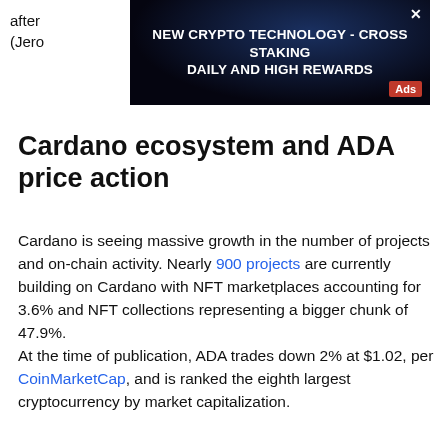after (Jero
[Figure (other): Advertisement banner: NEW CRYPTO TECHNOLOGY - CROSS STAKING DAILY AND HIGH REWARDS. Dark background with blue glow. Shows Ads label and close button.]
Cardano ecosystem and ADA price action
Cardano is seeing massive growth in the number of projects and on-chain activity. Nearly 900 projects are currently building on Cardano with NFT marketplaces accounting for 3.6% and NFT collections representing a bigger chunk of 47.9%.
At the time of publication, ADA trades down 2% at $1.02, per CoinMarketCap, and is ranked the eighth largest cryptocurrency by market capitalization.